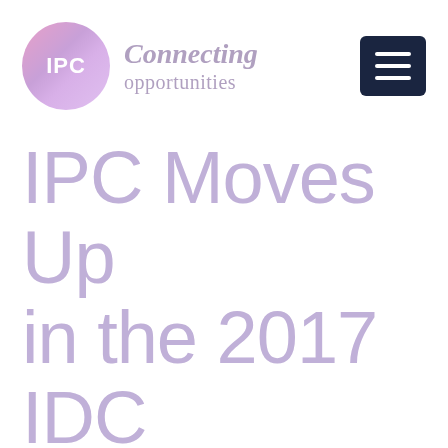[Figure (logo): IPC logo: pink-purple gradient circle with white 'IPC' text, followed by italic bold 'Connecting' and regular 'opportunities' text in muted purple]
[Figure (other): Dark navy blue hamburger menu button with three white horizontal bars]
IPC Moves Up in the 2017 IDC FinTech Rankings